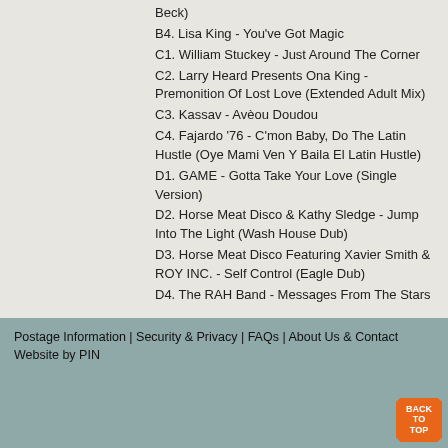Beck)
B4. Lisa King - You've Got Magic
C1. William Stuckey - Just Around The Corner
C2. Larry Heard Presents Ona King - Premonition Of Lost Love (Extended Adult Mix)
C3. Kassav - Avèou Doudou
C4. Fajardo '76 - C'mon Baby, Do The Latin Hustle (Oye Mami Ven Y Baila El Latin Hustle)
D1. GAME - Gotta Take Your Love (Single Version)
D2. Horse Meat Disco & Kathy Sledge - Jump Into The Light (Wash House Dub)
D3. Horse Meat Disco Featuring Xavier Smith & ROY INC. - Self Control (Eagle Dub)
D4. The RAH Band - Messages From The Stars
Postage Information | Security & Privacy | FAQs | About Us & Contact
Website by PIN